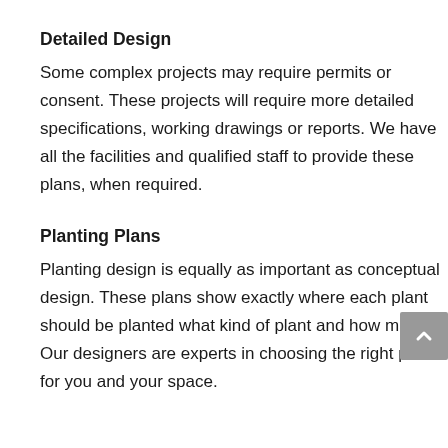Detailed Design
Some complex projects may require permits or consent. These projects will require more detailed specifications, working drawings or reports. We have all the facilities and qualified staff to provide these plans, when required.
Planting Plans
Planting design is equally as important as conceptual design. These plans show exactly where each plant should be planted what kind of plant and how many. Our designers are experts in choosing the right plants for you and your space.